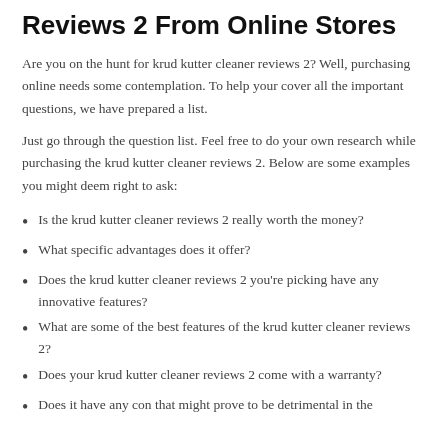Reviews 2 From Online Stores
Are you on the hunt for krud kutter cleaner reviews 2? Well, purchasing online needs some contemplation. To help your cover all the important questions, we have prepared a list.
Just go through the question list. Feel free to do your own research while purchasing the krud kutter cleaner reviews 2. Below are some examples you might deem right to ask:
Is the krud kutter cleaner reviews 2 really worth the money?
What specific advantages does it offer?
Does the krud kutter cleaner reviews 2 you're picking have any innovative features?
What are some of the best features of the krud kutter cleaner reviews 2?
Does your krud kutter cleaner reviews 2 come with a warranty?
Does it have any con that might prove to be detrimental in the